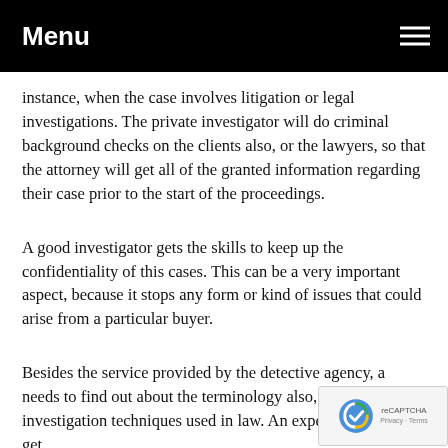Menu
instance, when the case involves litigation or legal investigations. The private investigator will do criminal background checks on the clients also, or the lawyers, so that the attorney will get all of the granted information regarding their case prior to the start of the proceedings.
A good investigator gets the skills to keep up the confidentiality of this cases. This can be a very important aspect, because it stops any form or kind of issues that could arise from a particular buyer.
Besides the service provided by the detective agency, a needs to find out about the terminology also, methods a investigation techniques used in law. An expert should also get